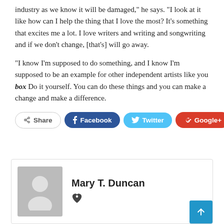industry as we know it will be damaged," he says. "I look at it like how can I help the thing that I love the most? It's something that excites me a lot. I love writers and writing and songwriting and if we don't change, [that's] will go away.
"I know I'm supposed to do something, and I know I'm supposed to be an example for other independent artists like you box Do it yourself. You can do these things and you can make a change and make a difference.
[Figure (other): Social share buttons: Share, Facebook, Twitter, Google+, and a plus button]
Mary T. Duncan